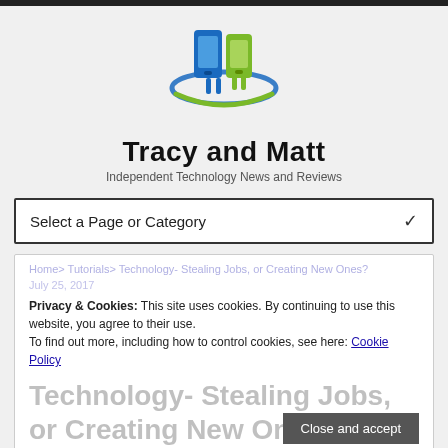[Figure (logo): Tracy and Matt website logo: two stylized mobile phones (blue and green) with circular swoosh orbit around them]
Tracy and Matt
Independent Technology News and Reviews
Select a Page or Category
Privacy & Cookies: This site uses cookies. By continuing to use this website, you agree to their use.
To find out more, including how to control cookies, see here: Cookie Policy
Technology- Stealing Jobs, or Creating New Ones?